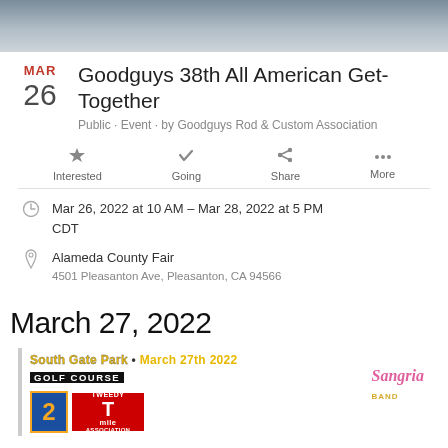[Figure (photo): Top portion of a car or vehicle with smoke/steam, cropped banner image]
Goodguys 38th All American Get-Together
Public · Event · by Goodguys Rod & Custom Association
Interested   Going   Share   More
Mar 26, 2022 at 10 AM – Mar 28, 2022 at 5 PM CDT
Alameda County Fair
4501 Pleasanton Ave, Pleasanton, CA 94566
March 27, 2022
[Figure (photo): Event flyer for South Gate Park Golf Course, March 27th 2022, featuring Tweedy Mile Association and Sangria Band]